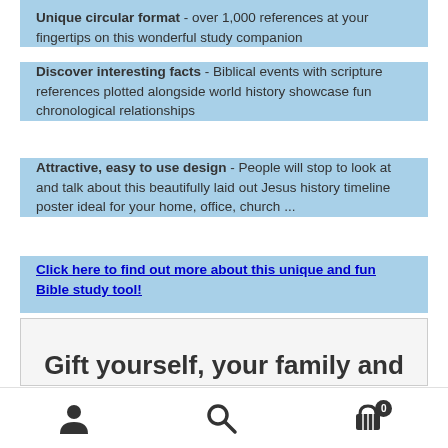Unique circular format - over 1,000 references at your fingertips on this wonderful study companion
Discover interesting facts - Biblical events with scripture references plotted alongside world history showcase fun chronological relationships
Attractive, easy to use design - People will stop to look at and talk about this beautifully laid out Jesus history timeline poster ideal for your home, office, church ...
Click here to find out more about this unique and fun Bible study tool!
Gift yourself, your family and